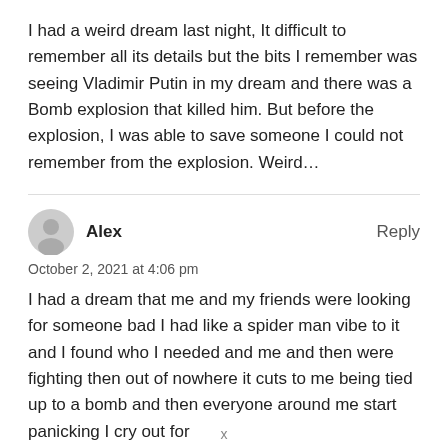I had a weird dream last night, It difficult to remember all its details but the bits I remember was seeing Vladimir Putin in my dream and there was a Bomb explosion that killed him. But before the explosion, I was able to save someone I could not remember from the explosion. Weird…
Alex — Reply — October 2, 2021 at 4:06 pm
I had a dream that me and my friends were looking for someone bad I had like a spider man vibe to it and I found who I needed and me and then were fighting then out of nowhere it cuts to me being tied up to a bomb and then everyone around me start panicking I cry out for
x